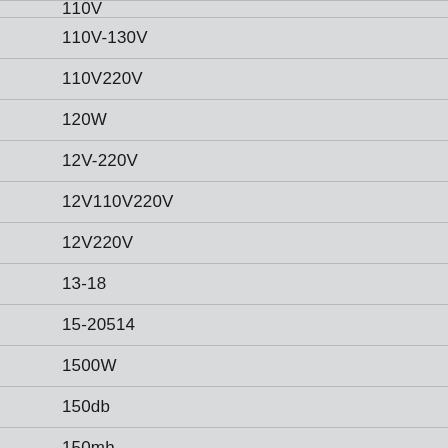110V
110V-130V
110V220V
120W
12V-220V
12V110V220V
12V220V
13-18
15-20514
1500W
150db
150mh